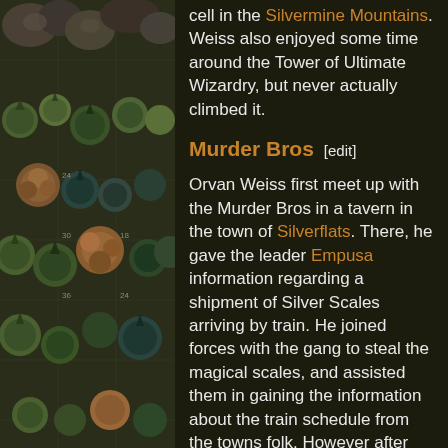[Figure (illustration): Fantasy game map illustration showing a top-down view with trees, rocks, bushes, and terrain features in muted greens, browns, and teal tones on a dark background with grid lines.]
cell in the Silvermine Mountains. Weiss also enjoyed some time around the Tower of Ultimate Wizardry, but never actually climbed it.
Murder Bros [edit]
Orvan Weiss first meet up with the Murder Bros in a tavern in the town of Silverflats. There, he gave the leader Empusa information regarding a shipment of Silver Scales arriving by train. He joined forces with the gang to steal the magical scales, and assisted them in gaining the information about the train schedule from the towns folk. However after heavily drinking E.X.X.X.P. Ale, the group barely arrives at the information and